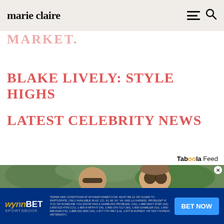marie claire
MARKET.
BLAKE LIVELY: STYLE HIGHS
LATEST CELEBRITY NEWS
Taboola Feed
[Figure (photo): Photo of two people wearing sunglasses outdoors, with green foliage in background]
wynnBET SPORTSBOOK — TERMS AND CONDITIONS AT WYNNWYNNBET.COM. MUST BE 21 OR OLDER TO PARTICIPATE. ONLY AVAILABLE IN AZ, CO, IN, MI, NY, VA, AND LA (VARIES). PROBLEM? IF YOU OR SOMEONE YOU KNOW HAS A GAMBLING PROBLEM, CALL 1-888-NEXT-STEP (AZ), 1-800-522-4700 (CO), 1-800-9-WITH-IT (IN), 1-800-270-7117 (MI), 1-800-GAMBLER (NJ), 1-800-988-9198 (TN), 1-888-532-3500 (VA), 1-877-770-7867 (LA), 1-877-8-HOPENY OR TEXT HOPENY (467369)(NY). BET NOW